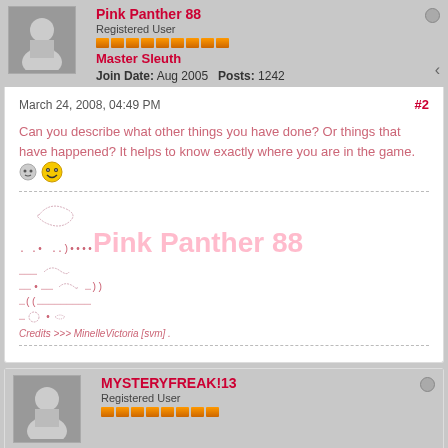Pink Panther 88
Registered User
Master Sleuth
Join Date: Aug 2005  Posts: 1242
March 24, 2008, 04:49 PM  #2
Can you describe what other things you have done? Or things that have happened? It helps to know exactly where you are in the game.
[Figure (other): ASCII art signature with Pink Panther 88 name and decorative text art]
Credits >>> MinelleVictoria [svm] .
MYSTERYFREAK!13
Registered User